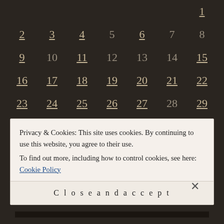| Sun | Mon | Tue | Wed | Thu | Fri | Sat |
| --- | --- | --- | --- | --- | --- | --- |
|  |  |  |  |  |  | 1 |
| 2 | 3 | 4 | 5 | 6 | 7 | 8 |
| 9 | 10 | 11 | 12 | 13 | 14 | 15 |
| 16 | 17 | 18 | 19 | 20 | 21 | 22 |
| 23 | 24 | 25 | 26 | 27 | 28 | 29 |
| 30 | 31 |  |  |  |  |  |
« Apr  Jun »
Privacy & Cookies: This site uses cookies. By continuing to use this website, you agree to their use. To find out more, including how to control cookies, see here: Cookie Policy
Close and accept